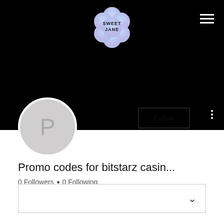[Figure (logo): Sweet Jane flower-shaped holographic logo with text 'SWEET JANE' in bold]
[Figure (photo): Black banner/header background with hamburger menu icon in top right]
[Figure (illustration): Gray circular profile avatar with letter P]
Follow
Promo codes for bitstarz casin...
0 Followers • 0 Following
[Figure (other): Dropdown/expand box with chevron down arrow]